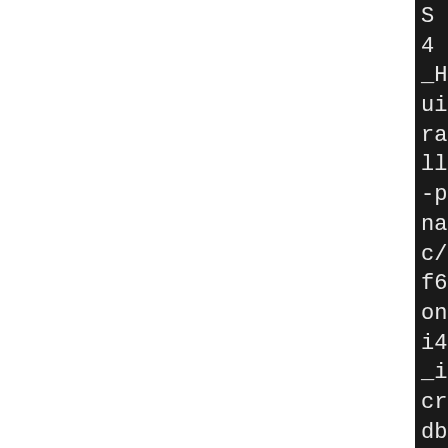[Figure (screenshot): Terminal/build output showing compiler command fragments in white monospace text on dark background. Visible partial lines include compiler flags and build paths for MongoDB on Linux i486-pld-linux-g++ platform.]